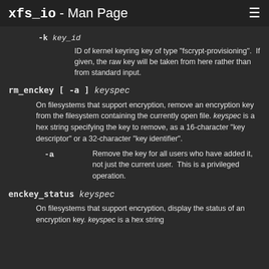xfs_io - Man Page
-k key_id
  ID of kernel keyring key of type "fscrypt-provisioning".  If given, the raw key will be taken from here rather than from standard input.
rm_enckey [ -a ] keyspec
On filesystems that support encryption, remove an encryption key from the filesystem containing the currently open file. keyspec is a hex string specifying the key to remove, as a 16-character "key descriptor" or a 32-character "key identifier".
-a  Remove the key for all users who have added it, not just the current user.  This is a privileged operation.
enckey_status keyspec
On filesystems that support encryption, display the status of an encryption key. keyspec is a hex string